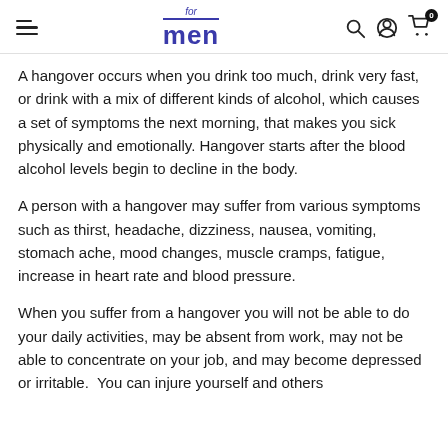for men
A hangover occurs when you drink too much, drink very fast, or drink with a mix of different kinds of alcohol, which causes a set of symptoms the next morning, that makes you sick physically and emotionally. Hangover starts after the blood alcohol levels begin to decline in the body.
A person with a hangover may suffer from various symptoms such as thirst, headache, dizziness, nausea, vomiting, stomach ache, mood changes, muscle cramps, fatigue, increase in heart rate and blood pressure.
When you suffer from a hangover you will not be able to do your daily activities, may be absent from work, may not be able to concentrate on your job, and may become depressed or irritable.  You can injure yourself and others